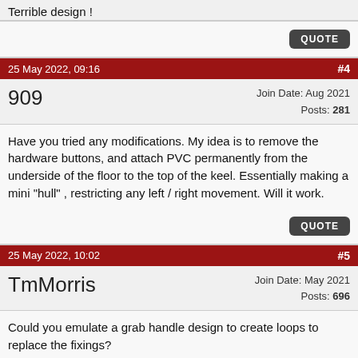Terrible design !
QUOTE
25 May 2022, 09:16   #4
909   Join Date: Aug 2021   Posts: 281
Have you tried any modifications. My idea is to remove the hardware buttons, and attach PVC permanently from the underside of the floor to the top of the keel. Essentially making a mini "hull" , restricting any left / right movement. Will it work.
QUOTE
25 May 2022, 10:02   #5
TmMorris   Join Date: May 2021   Posts: 696
Could you emulate a grab handle design to create loops to replace the fixings?